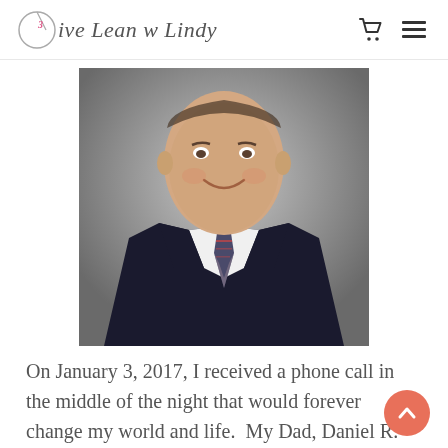Live Lean w Lindy
[Figure (photo): Professional headshot of a man in a dark suit and plaid tie, smiling, against a gray background]
On January 3, 2017, I received a phone call in the middle of the night that would forever change my world and life.  My Dad, Daniel R. Spore, passed away in his sleep that night and the world lost the